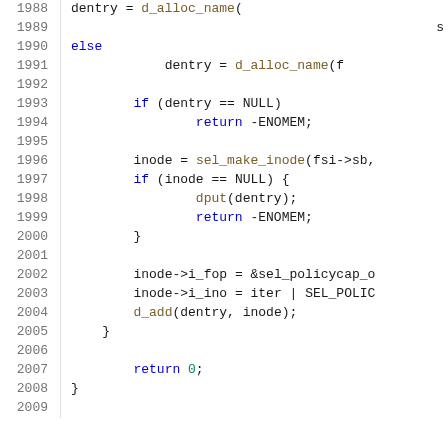[Figure (screenshot): Source code listing in C showing lines 1988-2009 of a Linux kernel file, with line numbers on the left and syntax-highlighted code on the right. Code shows dentry/inode allocation logic for a SELinux policycap filesystem.]